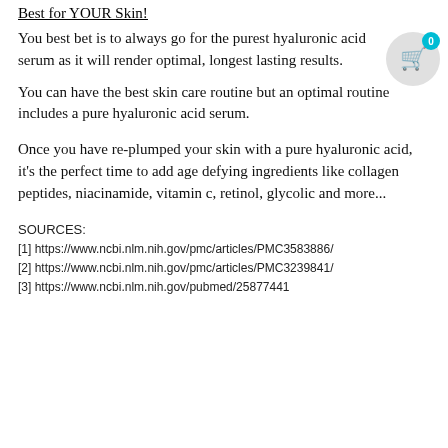Best for YOUR Skin!
You best bet is to always go for the purest hyaluronic acid serum as it will render optimal, longest lasting results.
You can have the best skin care routine but an optimal routine includes a pure hyaluronic acid serum.
Once you have re-plumped your skin with a pure hyaluronic acid, it's the perfect time to add age defying ingredients like collagen peptides, niacinamide, vitamin c, retinol, glycolic and more...
SOURCES:
[1] https://www.ncbi.nlm.nih.gov/pmc/articles/PMC3583886/
[2] https://www.ncbi.nlm.nih.gov/pmc/articles/PMC3239841/
[3] https://www.ncbi.nlm.nih.gov/pubmed/25877441